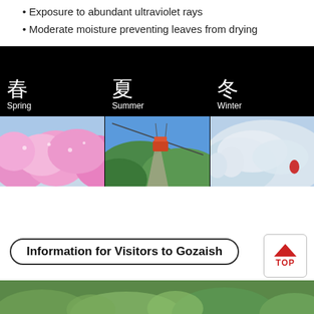Exposure to abundant ultraviolet rays
Moderate moisture preventing leaves from drying
[Figure (photo): Three-panel seasonal photo grid showing Spring (春) with cherry blossoms, Summer (夏) with cable car over green mountains, and Winter (冬) with snow-covered mountain scenery]
Information for Visitors to Gozaish
[Figure (photo): Green forest/nature photo strip at bottom of page]